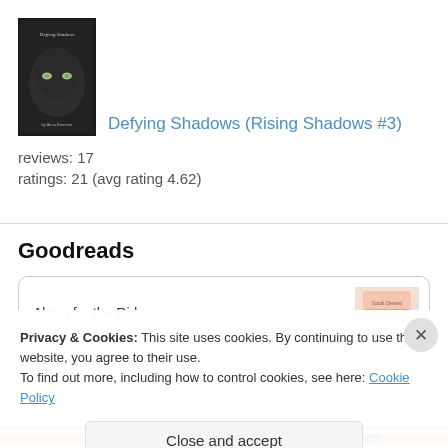[Figure (photo): Book cover of Defying Shadows (Rising Shadows #3) — dark background with glowing eyes]
Defying Shadows (Rising Shadows #3)
reviews: 17
ratings: 21 (avg rating 4.62)
Goodreads
Along for the Ride
Privacy & Cookies: This site uses cookies. By continuing to use this website, you agree to their use.
To find out more, including how to control cookies, see here: Cookie Policy